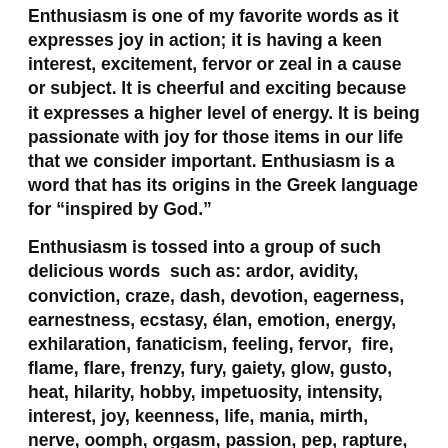Enthusiasm is one of my favorite words as it expresses joy in action; it is having a keen interest, excitement, fervor or zeal in a cause or subject. It is cheerful and exciting because it expresses a higher level of energy. It is being passionate with joy for those items in our life that we consider important. Enthusiasm is a word that has its origins in the Greek language for “inspired by God.”
Enthusiasm is tossed into a group of such delicious words such as: ardor, avidity, conviction, craze, dash, devotion, eagerness, earnestness, ecstasy, élan, emotion, energy, exhilaration, fanaticism, feeling, fervor, fire, flame, flare, frenzy, fury, gaiety, glow, gusto, heat, hilarity, hobby, impetuosity, intensity, interest, joy, keenness, life, mania, mirth, nerve, oomph, orgasm, passion, pep, rapture, relish, snap,